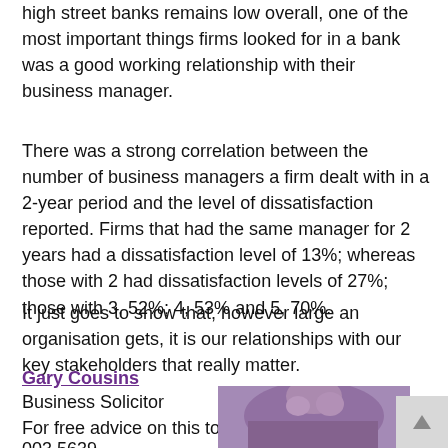high street banks remains low overall, one of the most important things firms looked for in a bank was a good working relationship with their business manager.
There was a strong correlation between the number of business managers a firm dealt with in a 2-year period and the level of dissatisfaction reported. Firms that had the same manager for 2 years had a dissatisfaction level of 13%; whereas those with 2 had dissatisfaction levels of 27%; those with 3, 52%; 4, 53% and 5, 70%.
It just goes to show that, however large an organisation gets, it is our relationships with our key stakeholders that really matter.
Gary Cousins
Business Solicitor
For free advice on this topic please call us on 0845 003 5639.
[Figure (photo): Partial photo of a person, cropped at the bottom of the page]